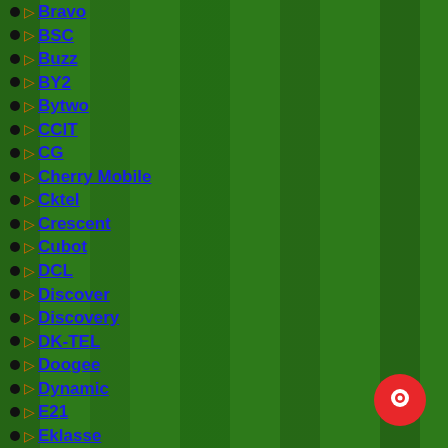Bravo
BSC
Buzz
BY2
Bytwo
CCIT
CG
Cherry Mobile
Cktel
Crescent
Cubot
DCL
Discover
Discovery
DK-TEL
Doogee
Dynamic
E21
Eklasse
Elite
Eurostar
EXMobile
Forme
Four (4)